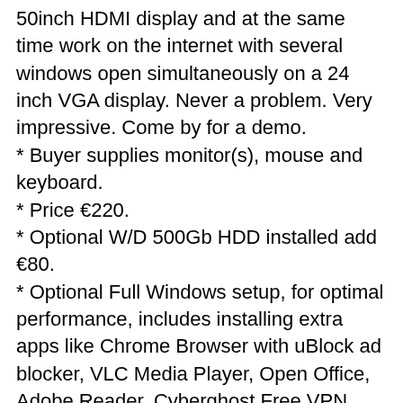50inch HDMI display and at the same time work on the internet with several windows open simultaneously on a 24 inch VGA display. Never a problem. Very impressive. Come by for a demo. * Buyer supplies monitor(s), mouse and keyboard. * Price €220. * Optional W/D 500Gb HDD installed add €80. * Optional Full Windows setup, for optimal performance, includes installing extra apps like Chrome Browser with uBlock ad blocker, VLC Media Player, Open Office, Adobe Reader, Cyberghost Free VPN, etc., add €40 * Contact DoctorLaptop by email and be sure to include your phone number. I will do call-backs this afternoon, in the order I receive the emails.